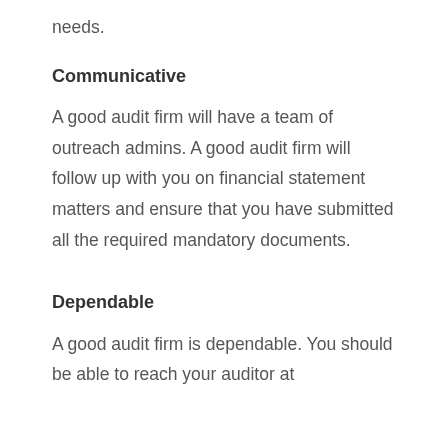needs.
Communicative
A good audit firm will have a team of outreach admins. A good audit firm will follow up with you on financial statement matters and ensure that you have submitted all the required mandatory documents.
Dependable
A good audit firm is dependable. You should be able to reach your auditor at